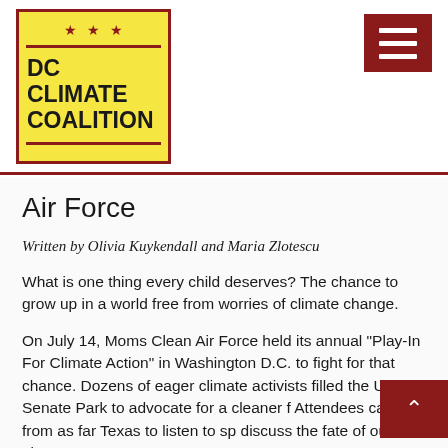[Figure (logo): DC Climate Coalition logo: yellow box with red border, three red stars at top, two red horizontal lines, bold text 'DC CLIMATE COALITION']
Air Force
Written by Olivia Kuykendall and Maria Zlotescu
What is one thing every child deserves? The chance to grow up in a world free from worries of climate change.
On July 14, Moms Clean Air Force held its annual "Play-In For Climate Action" in Washington D.C. to fight for that chance. Dozens of eager climate activists filled the Upper Senate Park to advocate for a cleaner f Attendees came from as far Texas to listen to sp discuss the fate of our planet.